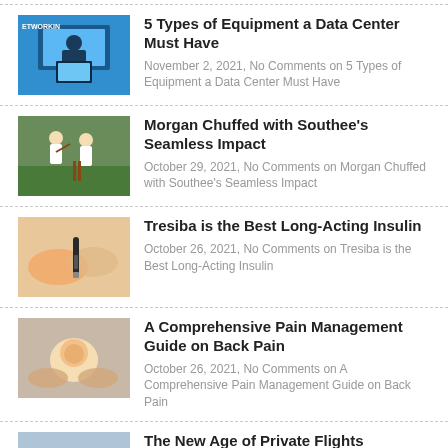5 Types of Equipment a Data Center Must Have
November 2, 2021, No Comments on 5 Types of Equipment a Data Center Must Have
Morgan Chuffed with Southee's Seamless Impact
October 29, 2021, No Comments on Morgan Chuffed with Southee's Seamless Impact
Tresiba is the Best Long-Acting Insulin
October 26, 2021, No Comments on Tresiba is the Best Long-Acting Insulin
A Comprehensive Pain Management Guide on Back Pain
October 26, 2021, No Comments on A Comprehensive Pain Management Guide on Back Pain
The New Age of Private Flights
October 26, 2021, No Comments on The New Age of Private Flights